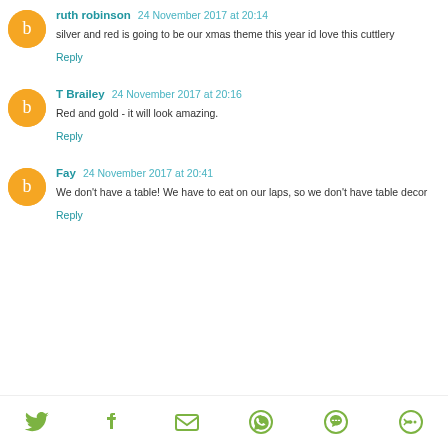ruth robinson 24 November 2017 at 20:14 — silver and red is going to be our xmas theme this year id love this cuttlery — Reply
T Brailey 24 November 2017 at 20:16 — Red and gold - it will look amazing. — Reply
Fay 24 November 2017 at 20:41 — We don't have a table! We have to eat on our laps, so we don't have table decor — Reply
[Figure (infographic): Social share bar with icons for Twitter, Facebook, Email, WhatsApp, SMS, and another sharing option, all in olive/green color]